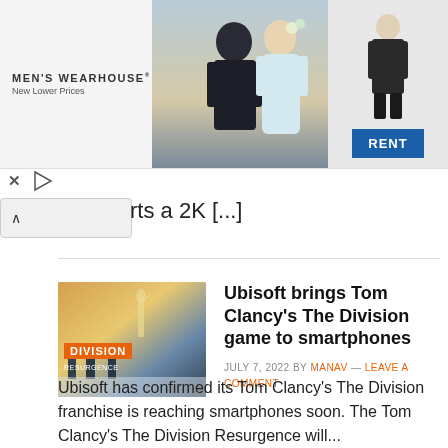[Figure (photo): Men's Wearhouse advertisement banner with couple in formal wear and man in suit, with RENT button]
rts a 2K [...]
[Figure (photo): Tom Clancy's The Division Resurgence game cover art showing soldiers walking toward Statue of Liberty in snowy setting with orange DIVISION logo]
Ubisoft brings Tom Clancy's The Division game to smartphones
JULY 7, 2022 BY MANAV — LEAVE A COMMENT
Ubisoft has confirmed its Tom Clancy's The Division franchise is reaching smartphones soon. The Tom Clancy's The Division Resurgence will...